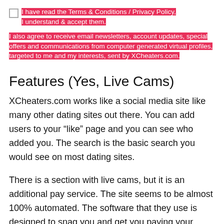I have read the Terms & Conditions / Privacy Policy, I understand & accept them.
I also agree to receive email newsletters, account updates, special offers and communications from computer generated virtual profiles, targeted to me and my interests, sent by XCheaters.com.
Features (Yes, Live Cams)
XCheaters.com works like a social media site like many other dating sites out there. You can add users to your “like” page and you can see who added you. The search is the basic search you would see on most dating sites.
There is a section with live cams, but it is an additional pay service. The site seems to be almost 100% automated. The software that they use is designed to snag you and get you paying your